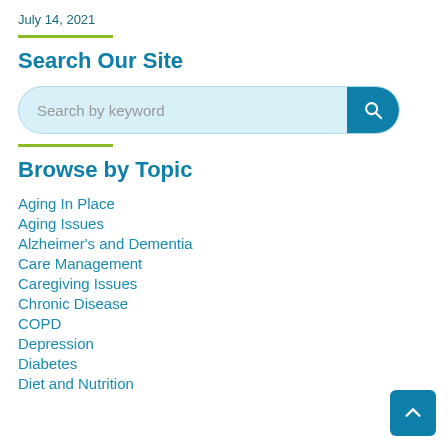July 14, 2021
Search Our Site
[Figure (other): Search bar with 'Search by keyword' placeholder text and a blue search button]
Browse by Topic
Aging In Place
Aging Issues
Alzheimer's and Dementia
Care Management
Caregiving Issues
Chronic Disease
COPD
Depression
Diabetes
Diet and Nutrition